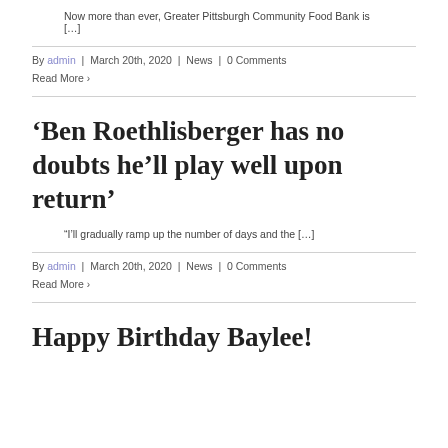Now more than ever, Greater Pittsburgh Community Food Bank is […]
By admin | March 20th, 2020 | News | 0 Comments
Read More >
‘Ben Roethlisberger has no doubts he’ll play well upon return’
“I’ll gradually ramp up the number of days and the […]
By admin | March 20th, 2020 | News | 0 Comments
Read More >
Happy Birthday Baylee!